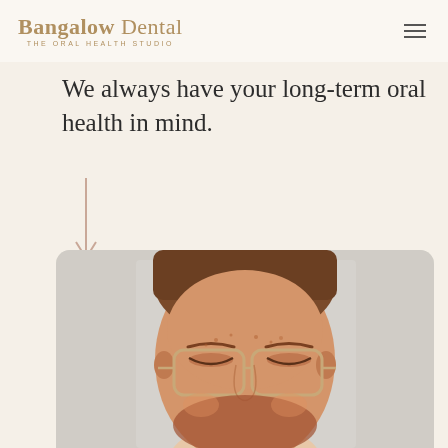Bangalow Dental THE ORAL HEALTH STUDIO
We always have your long-term oral health in mind.
[Figure (illustration): A downward-pointing arrow in a muted rose/tan color, indicating scroll down]
[Figure (photo): Close-up photo of a smiling red-haired man with a beard wearing tan/nude colored glasses, photographed from forehead to chin, with a blurred light background]